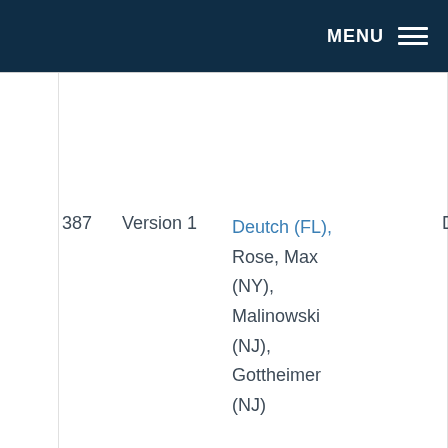MENU
|  | Version | Sponsors | Party |
| --- | --- | --- | --- |
| 387 | Version 1 | Deutch (FL), Rose, Max (NY), Malinowski (NJ), Gottheimer (NJ) | Democra… |